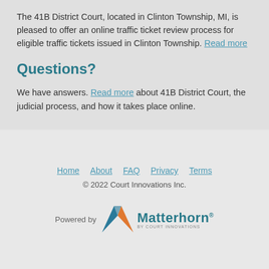The 41B District Court, located in Clinton Township, MI, is pleased to offer an online traffic ticket review process for eligible traffic tickets issued in Clinton Township. Read more
Questions?
We have answers. Read more about 41B District Court, the judicial process, and how it takes place online.
Home   About   FAQ   Privacy   Terms
© 2022 Court Innovations Inc.
Powered by Matterhorn BY COURT INNOVATIONS